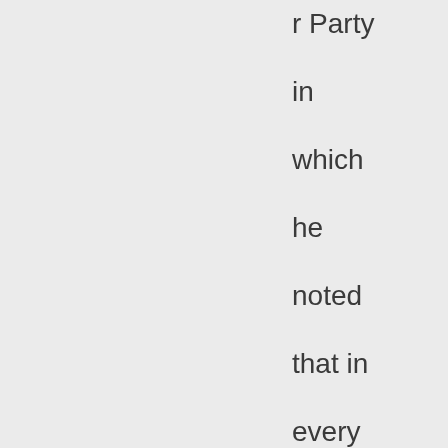r Party in which he noted that in every situation of crisis or need he kept meeting Christi